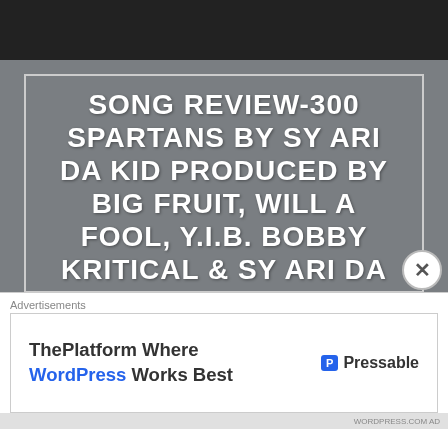SONG REVIEW-300 SPARTANS BY SY ARI DA KID PRODUCED BY BIG FRUIT, WILL A FOOL, Y.I.B. BOBBY KRITICAL & SY ARI DA KID FEATURING D DASH, TRANSLEE, K CAMP, SCOTTY ATL, BO DEAL, VERSE SIMMONDS,
Advertisements
[Figure (other): Advertisement banner: ThePlatform Where WordPress Works Best — Pressable logo]